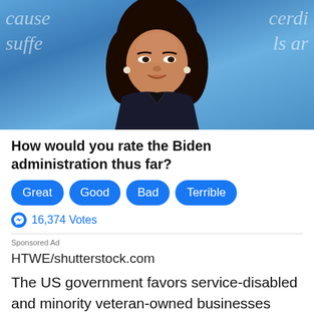[Figure (photo): Photo of a woman (Kamala Harris) at a debate podium, with blue background text partially visible reading 'cause..cerdi..suffe..ls ar']
How would you rate the Biden administration thus far?
Great
Good
Bad
Terrible
16,374 Votes
Sponsored Ad
HTWE/shutterstock.com
The US government favors service-disabled and minority veteran-owned businesses when it comes to awarding contracts for